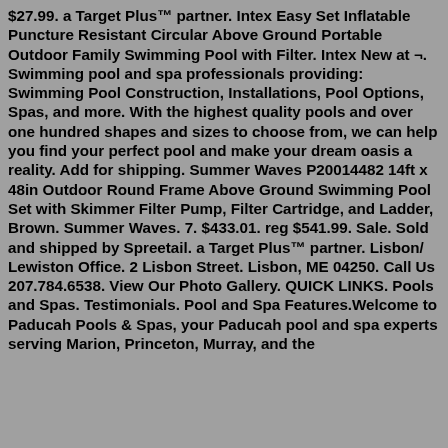$27.99. a Target Plus™ partner. Intex Easy Set Inflatable Puncture Resistant Circular Above Ground Portable Outdoor Family Swimming Pool with Filter. Intex New at ¬. Swimming pool and spa professionals providing: Swimming Pool Construction, Installations, Pool Options, Spas, and more. With the highest quality pools and over one hundred shapes and sizes to choose from, we can help you find your perfect pool and make your dream oasis a reality. Add for shipping. Summer Waves P20014482 14ft x 48in Outdoor Round Frame Above Ground Swimming Pool Set with Skimmer Filter Pump, Filter Cartridge, and Ladder, Brown. Summer Waves. 7. $433.01. reg $541.99. Sale. Sold and shipped by Spreetail. a Target Plus™ partner. Lisbon/ Lewiston Office. 2 Lisbon Street. Lisbon, ME 04250. Call Us 207.784.6538. View Our Photo Gallery. QUICK LINKS. Pools and Spas. Testimonials. Pool and Spa Features.Welcome to Paducah Pools & Spas, your Paducah pool and spa experts serving Marion, Princeton, Murray, and the surrounding area from our 25 years. Our business...